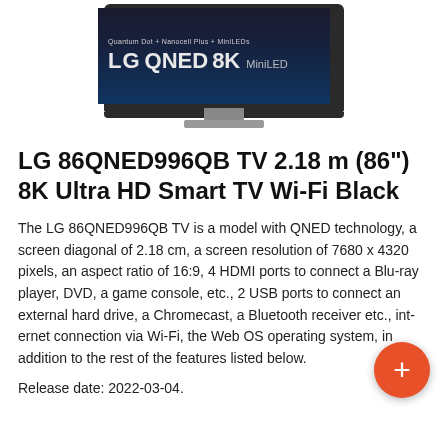[Figure (photo): LG QNED 8K MiniLED television product image showing the TV with silver stand. Screen displays 'Quantum Dot + Nanocell Plus + MiniLEDs' and 'LG QNED 8K MiniLED' branding.]
LG 86QNED996QB TV 2.18 m (86") 8K Ultra HD Smart TV Wi-Fi Black
The LG 86QNED996QB TV is a model with QNED technology, a screen diagonal of 2.18 cm, a screen resolution of 7680 x 4320 pixels, an aspect ratio of 16:9, 4 HDMI ports to connect a Blu-ray player, DVD, a game console, etc., 2 USB ports to connect an external hard drive, a Chromecast, a Bluetooth receiver etc., internet connection via Wi-Fi, the Web OS operating system, in addition to the rest of the features listed below.
Release date: 2022-03-04.